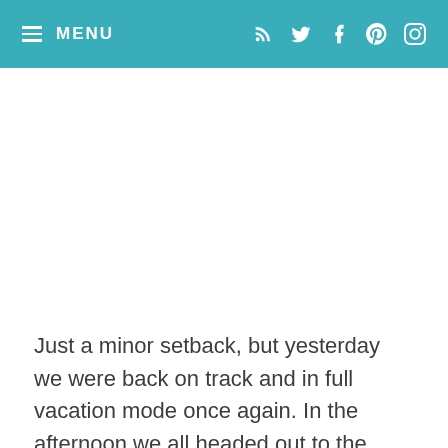MENU
Just a minor setback, but yesterday we were back on track and in full vacation mode once again.  In the afternoon we all headed out to the Padres game and it was so much fun!  They won the game 13-4.  It was nice to be at a game again after such a long time of being out of the major league baseball scene.  I am a big NY Yankees fan but I'm mostly just a fan of baseball in general.